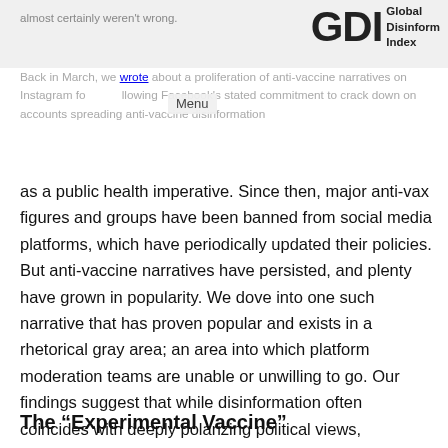almost certainly weren't wrong.
[Figure (logo): GDI Global Disinformation Index logo with large bold letters GDI and text 'Global Disinformation Index' to the right]
Back in March, we wrote about a proliferation of anti-vaccine narratives on Instagram following Facebook's stated commitment to crack down on accounts spreading anti-vaccine disinformation as a public health imperative. Since then, major anti-vax figures and groups have been banned from social media platforms, which have periodically updated their policies. But anti-vaccine narratives have persisted, and plenty have grown in popularity. We dove into one such narrative that has proven popular and exists in a rhetorical gray area; an area into which platform moderation teams are unable or unwilling to go. Our findings suggest that while disinformation often coincides with deeply polarizing political views, promoters of vaccine skepticism may be employing a more politically inclusive approach.
The “Experimental Vaccine”